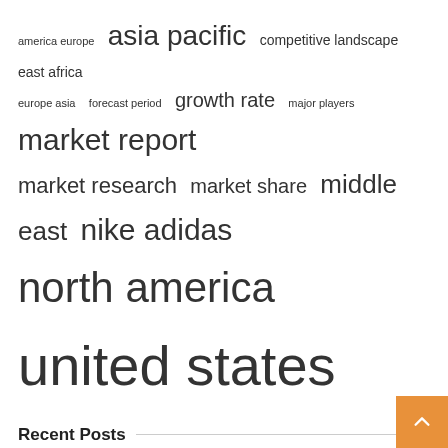[Figure (other): Tag cloud / word cloud with terms related to market research: america europe, asia pacific (large), competitive landscape, east africa, europe asia, forecast period, growth rate, major players, market report (large), market research, market share, middle east, nike adidas, north america, united states (very large)]
Recent Posts
All of your company expenses will be rewarded with cashback if you use one of these credit cards.
Is it better to consolidate or pay off debts separately?
Texas State and Adidas extend apparel partnership through June 2025
Apple Hospitality REIT Announces Increase in Monthly Distribution from